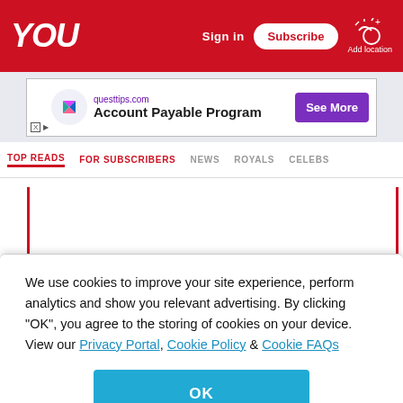YOU
[Figure (screenshot): Advertisement banner for questtips.com Account Payable Program with See More button]
TOP READS | FOR SUBSCRIBERS | NEWS | ROYALS | CELEBS
READ MORE ON:
BABYSITTER
NANNY
We use cookies to improve your site experience, perform analytics and show you relevant advertising. By clicking "OK", you agree to the storing of cookies on your device. View our Privacy Portal, Cookie Policy & Cookie FAQs